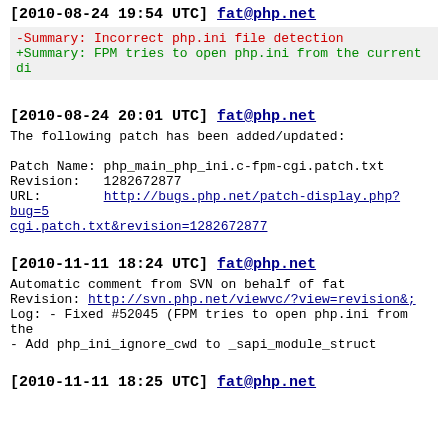[2010-08-24 19:54 UTC] fat@php.net
-Summary: Incorrect php.ini file detection
+Summary: FPM tries to open php.ini from the current di
[2010-08-24 20:01 UTC] fat@php.net
The following patch has been added/updated:

Patch Name: php_main_php_ini.c-fpm-cgi.patch.txt
Revision:   1282672877
URL:        http://bugs.php.net/patch-display.php?bug=5...
cgi.patch.txt&revision=1282672877
[2010-11-11 18:24 UTC] fat@php.net
Automatic comment from SVN on behalf of fat
Revision: http://svn.php.net/viewvc/?view=revision&amp;
Log: - Fixed #52045 (FPM tries to open php.ini from the
- Add php_ini_ignore_cwd to _sapi_module_struct
[2010-11-11 18:25 UTC] fat@php.net